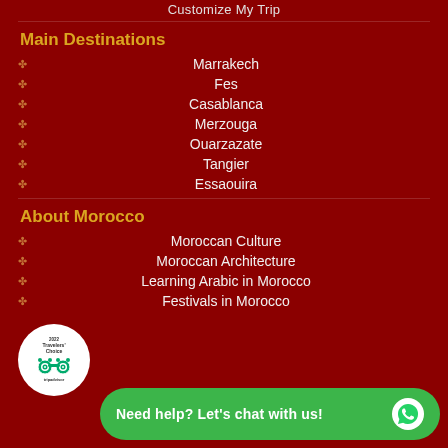Customize My Trip
Main Destinations
Marrakech
Fes
Casablanca
Merzouga
Ouarzazate
Tangier
Essaouira
About Morocco
Moroccan Culture
Moroccan Architecture
Learning Arabic in Morocco
Festivals in Morocco
[Figure (logo): TripAdvisor Travelers' Choice award badge, circular white badge with owl logo]
Need help? Let's chat with us!